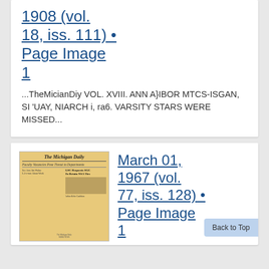1908 (vol. 18, iss. 111) • Page Image 1
...TheMicianDiy VOL. XVIII. ANN A}IBOR MTCS-ISGAN, SI 'UAY, NIARCH i, ra6. VARSITY STARS WERE MISSED...
[Figure (photo): Thumbnail image of The Michigan Daily newspaper front page with headline 'Faculty Vacancies Pose Threat to Departments' and 'GSC Requests SGC To Retain NSA Ties']
March 01, 1967 (vol. 77, iss. 128) • Page Image 1